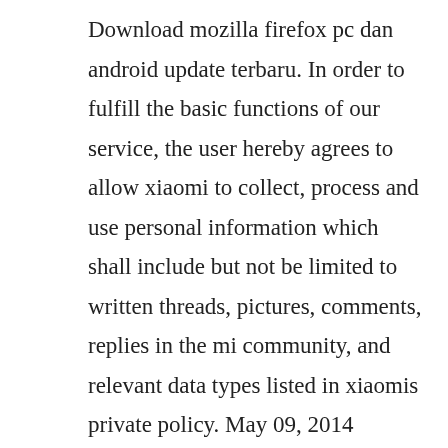Download mozilla firefox pc dan android update terbaru. In order to fulfill the basic functions of our service, the user hereby agrees to allow xiaomi to collect, process and use personal information which shall include but not be limited to written threads, pictures, comments, replies in the mi community, and relevant data types listed in xiaomis private policy. May 09, 2014 download musicase a lightweight and easy to use application that allows you to search for songs online and download them on your computer in a simple